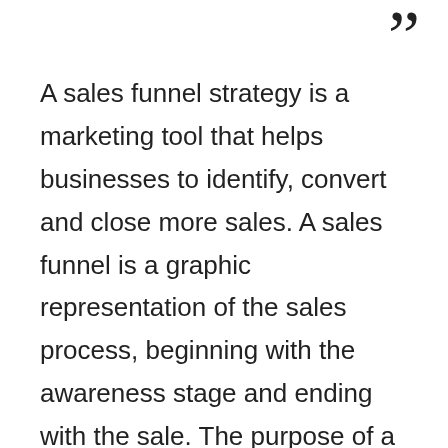”
A sales funnel strategy is a marketing tool that helps businesses to identify, convert and close more sales. A sales funnel is a graphic representation of the sales process, beginning with the awareness stage and ending with the sale. The purpose of a sales funnel is to help businesses better understand how customers interact with their products or services and to optimize their marketing